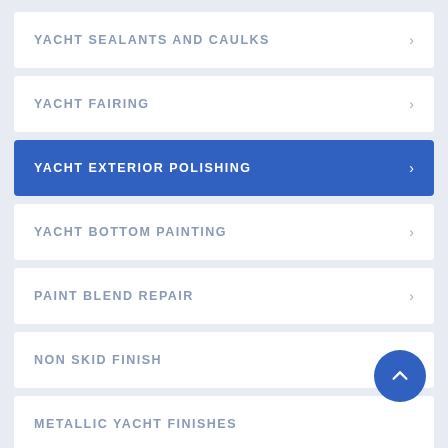YACHT SEALANTS AND CAULKS
YACHT FAIRING
YACHT EXTERIOR POLISHING
YACHT BOTTOM PAINTING
PAINT BLEND REPAIR
NON SKID FINISH
METALLIC YACHT FINISHES